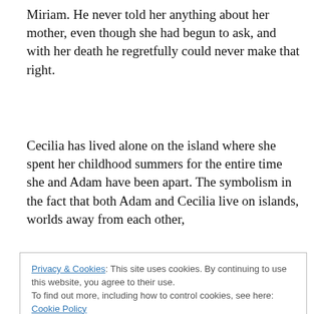Miriam. He never told her anything about her mother, even though she had begun to ask, and with her death he regretfully could never make that right.
Cecilia has lived alone on the island where she spent her childhood summers for the entire time she and Adam have been apart. The symbolism in the fact that both Adam and Cecilia live on islands, worlds away from each other,
Privacy & Cookies: This site uses cookies. By continuing to use this website, you agree to their use.
To find out more, including how to control cookies, see here: Cookie Policy
gave Adam the painful choice of being her partner or being